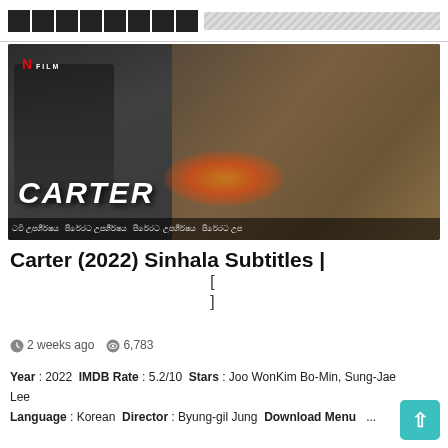XXXXXXXX
[Figure (photo): Movie poster/promotional image for Carter (2022) Netflix film showing action scene with two fighters, fire explosion in background, Netflix Film logo top left, CARTER title text bottom left, and Sinhala subtitle text at the bottom bar]
Carter (2022) Sinhala Subtitles | [
]
2 weeks ago   6,783
Year :  2022 IMDB Rate :  5.2/10 Stars :  Joo WonKim Bo-Min, Sung-Jae Lee Language :  Korean Director :  Byung-gil Jung Download Menu   ...